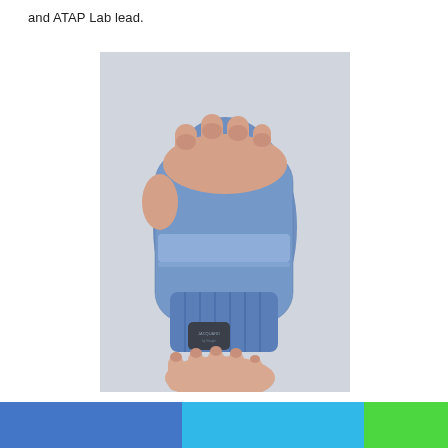and ATAP Lab lead.
[Figure (photo): A hand wearing a fingerless denim glove-style wrist wrap with a small rectangular dark electronic tag/device attached at the wrist area. A second hand from below holds the tag. The background is light gray.]
[Figure (infographic): Three colored horizontal bands at the bottom: dark blue on the left, light blue in the center, and bright green on the right.]